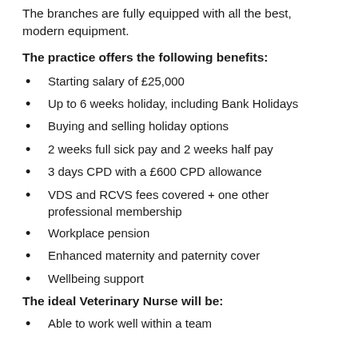The branches are fully equipped with all the best, modern equipment.
The practice offers the following benefits:
Starting salary of £25,000
Up to 6 weeks holiday, including Bank Holidays
Buying and selling holiday options
2 weeks full sick pay and 2 weeks half pay
3 days CPD with a £600 CPD allowance
VDS and RCVS fees covered + one other professional membership
Workplace pension
Enhanced maternity and paternity cover
Wellbeing support
The ideal Veterinary Nurse will be:
Able to work well within a team